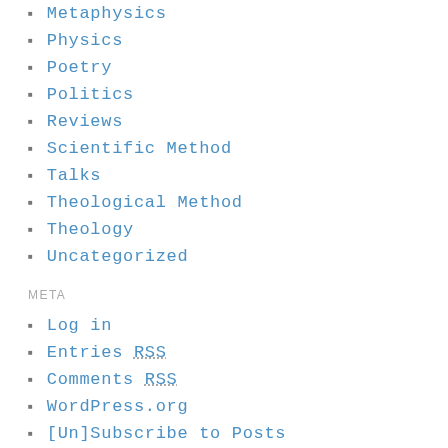Metaphysics
Physics
Poetry
Politics
Reviews
Scientific Method
Talks
Theological Method
Theology
Uncategorized
META
Log in
Entries RSS
Comments RSS
WordPress.org
[Un]Subscribe to Posts
BLOGROLL
BioLogos
Conciliar Post
Deutsche Übersetzungen
GetReligion
GiveWell